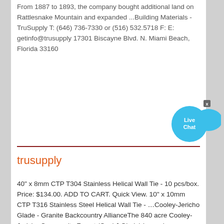From 1887 to 1893, the company bought additional land on Rattlesnake Mountain and expanded ...Building Materials - TruSupply T: (646) 736-7330 or (516) 532.5718 F: E: getinfo@trusupply 17301 Biscayne Blvd. N. Miami Beach, Florida 33160
[Figure (illustration): Live Chat bubble icon with fish shape and close button]
trusupply
40" x 8mm CTP T304 Stainless Helical Wall Tie - 10 pcs/box. Price: $134.00. ADD TO CART. Quick View. 10" x 10mm CTP T316 Stainless Steel Helical Wall Tie - …Cooley-Jericho Glade - Granite Backcountry AllianceThe 840 acre Cooley-Jericho Community Forest (Cool J Glade) is a unique property as four towns (Franconia, Sugar Hill, Easton, and Landaff) are wrapped into the stewardship with fee ownership held by Ammonoosuc Conservation Trust, a local conservation leader. Newly developed in the Fall of 2019, Cool J Glade is a similar zone to Crescent Ridge.